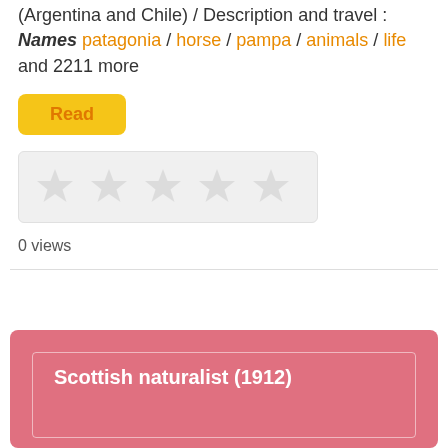(Argentina and Chile) / Description and travel :
Names patagonia / horse / pampa / animals / life and 2211 more
Read
[Figure (other): Star rating widget, empty/unrated stars shown faintly in a light gray box]
0 views
Scottish naturalist (1912)